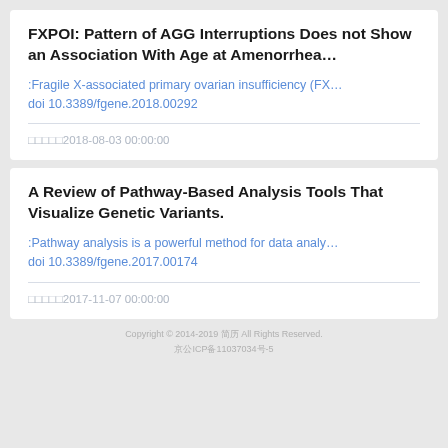FXPOI: Pattern of AGG Interruptions Does not Show an Association With Age at Amenorrhea…
:Fragile X-associated primary ovarian insufficiency (FX…
doi 10.3389/fgene.2018.00292
□□□□□2018-08-03 00:00:00
A Review of Pathway-Based Analysis Tools That Visualize Genetic Variants.
:Pathway analysis is a powerful method for data analy…
doi 10.3389/fgene.2017.00174
□□□□□2017-11-07 00:00:00
Copyright © 2014-2019 简历 All Rights Reserved.
京公ICP夆11037034号-5